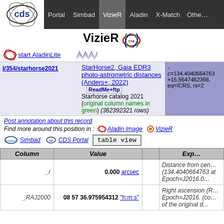Portal | Simbad | VizieR | Aladin | X-Match | Other
VizieR
start AladinLite
I/354/starhorse2021 — StarHorse2, Gaia EDR3 photo-astrometric distances (Anders+, 2022) ReadMe+ftp — Starhorse catalog 2021 (original column names in green) (362392321 rows) — c=134.4040664763+15.5647462366, eq=ICRS, rs=2
Post annotation about this record
Find more around this position in : Aladin Image VizieR
Simbad  CDS Portal  table view
| Column | Value |  | Explaination |
| --- | --- | --- | --- |
| _r | 0.000 arcsec |  | Distance from center (134.4040664763 at Epoch=J2016.0 |
| _RAJ2000 | 08 57 36.975954312  "h:m:s" |  | Right ascension (R Epoch=J2016. (co of the original d |